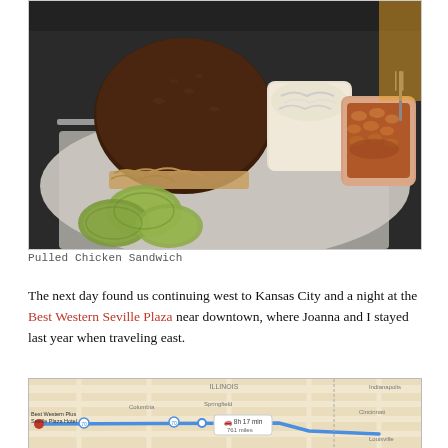[Figure (photo): Photo of a pulled chicken sandwich on a dark bun with pickle chips on wax paper, alongside a cup of coleslaw and a cup of baked beans in a basket.]
Pulled Chicken Sandwich
The next day found us continuing west to Kansas City and a night at the Best Western Seville Plaza near downtown, where Joanna and I stayed last year when traveling east.
[Figure (map): Google Maps screenshot showing a driving route from Best Western Plus Seville Plaza Hotel westward through Illinois and Missouri, with a route duration label showing 8h 17 min, 761 miles.]